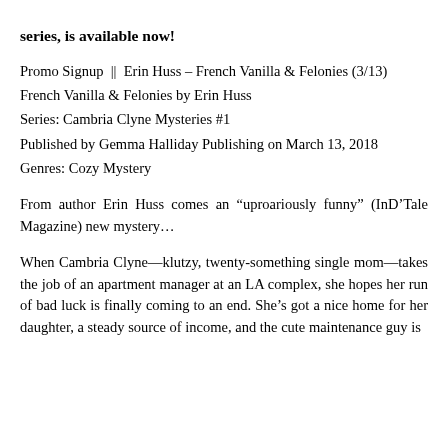series, is available now!
Promo Signup || Erin Huss – French Vanilla & Felonies (3/13)
French Vanilla & Felonies by Erin Huss
Series: Cambria Clyne Mysteries #1
Published by Gemma Halliday Publishing on March 13, 2018
Genres: Cozy Mystery
From author Erin Huss comes an “uproariously funny” (InD’Tale Magazine) new mystery…
When Cambria Clyne—klutzy, twenty-something single mom—takes the job of an apartment manager at an LA complex, she hopes her run of bad luck is finally coming to an end. She’s got a nice home for her daughter, a steady source of income, and the cute maintenance guy is